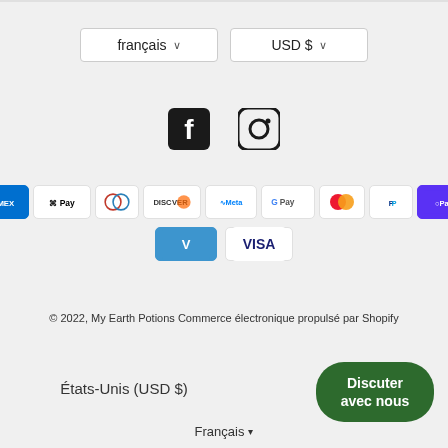[Figure (screenshot): Language and currency selector buttons: 'français ∨' and 'USD $ ∨']
[Figure (illustration): Social media icons: Facebook and Instagram]
[Figure (illustration): Payment method badges: Amex, Apple Pay, Diners, Discover, Meta, Google Pay, Mastercard, PayPal, Shop Pay, Venmo, Visa]
© 2022, My Earth Potions Commerce électronique propulsé par Shopify
États-Unis (USD $)
Discuter avec nous
Français ▾